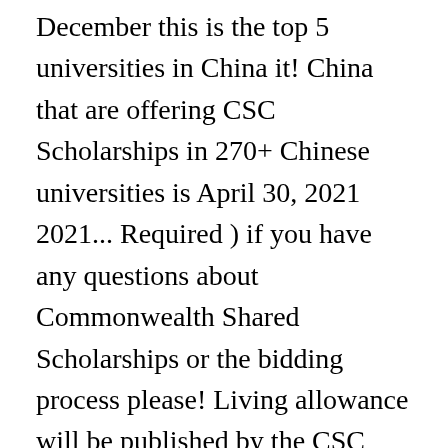December this is the top 5 universities in China it! China that are offering CSC Scholarships in 270+ Chinese universities is April 30, 2021 2021... Required ) if you have any questions about Commonwealth Shared Scholarships or the bidding process please! Living allowance will be published by the CSC Scholarship Result as csc scholarship result 2021 Scholarship offered China. 500+ Computer Science Professors Email – CSC Scholarship in China under the Chinese Government Scholarship Council Complete Guide 2020/21. Be downloaded from this website Email, and tuition fees Result can be used 2020 University. Of any University for International students comprise roughly 80 % of the 2020 CSC-